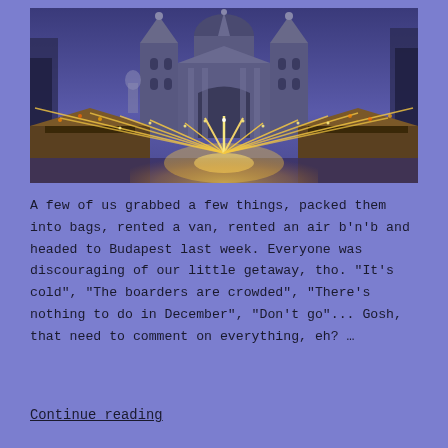[Figure (photo): Photo of St. Stephen's Basilica in Budapest at dusk with a Christmas market in the foreground, featuring golden lights radiating outward from a central display, market stalls on either side, and a blue-purple twilight sky.]
A few of us grabbed a few things, packed them into bags, rented a van, rented an air b'n'b and headed to Budapest last week. Everyone was discouraging of our little getaway, tho. "It's cold", "The boarders are crowded", "There's nothing to do in December", "Don't go"... Gosh, that need to comment on everything, eh? …
Continue reading